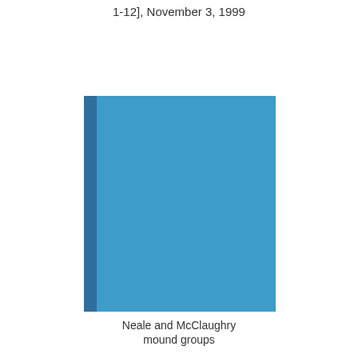1-12], November 3, 1999
[Figure (bar-chart): Neale and McClaughry mound groups]
Neale and McClaughry
mound groups